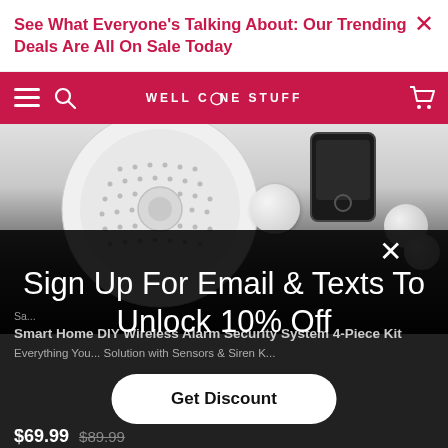See What Everyone's Talking About: Our Trending Deals Are All On Sale Today
WELL CONE STUFF
[Figure (photo): Smart home security system devices including a large round speaker/siren with dot pattern, small round sensors, and a smartphone, displayed on gradient background transitioning to dark]
Sign Up For Email & Texts To Unlock 10% Off
Smart Home DIY Wireless Alarm Security System 4-Piece Kit
Everything You... Solution with Sensors & Siren Kit
$69.99  $89.99